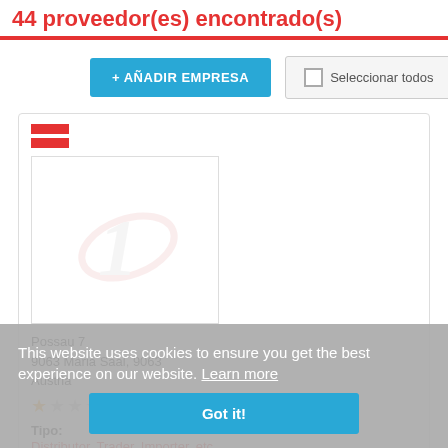44 proveedor(es) encontrado(s)
+ AÑADIR EMPRESA
Seleccionar todos
[Figure (logo): Company placeholder logo with stylized number 1 and oval shape in light gray/pink]
Possau 7
9063 Maria Saal, 9063
Austria
★☆☆☆☆
Tipo:
Distributor, Trader, Importer, etc.
Productos/Servicios:
This website uses cookies to ensure you get the best experience on our website. Learn more
Got it!